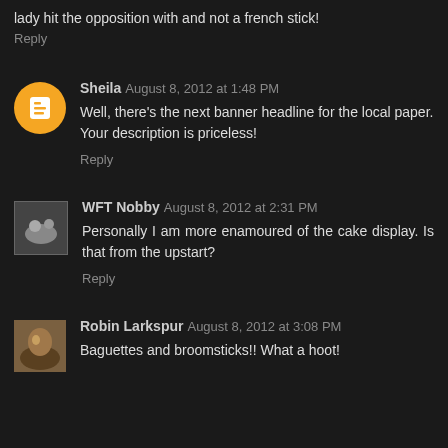lady hit the opposition with and not a french stick!
Reply
Sheila  August 8, 2012 at 1:48 PM
Well, there's the next banner headline for the local paper. Your description is priceless!
Reply
WFT Nobby  August 8, 2012 at 2:31 PM
Personally I am more enamoured of the cake display. Is that from the upstart?
Reply
Robin Larkspur  August 8, 2012 at 3:08 PM
Baguettes and broomsticks!! What a hoot!